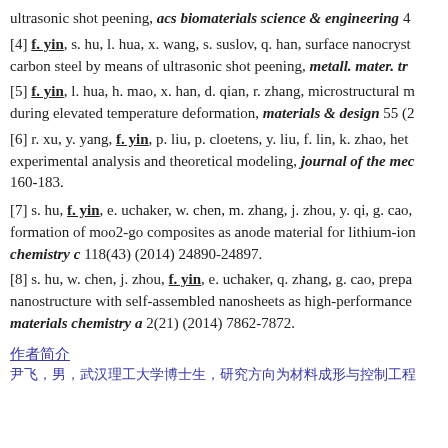ultrasonic shot peening, acs biomaterials science & engineering 4
[4] f. yin, s. hu, l. hua, x. wang, s. suslov, q. han, surface nanocryst carbon steel by means of ultrasonic shot peening, metall. mater. tr
[5] f. yin, l. hua, h. mao, x. han, d. qian, r. zhang, microstructural m during elevated temperature deformation, materials & design 55 (2
[6] r. xu, y. yang, f. yin, p. liu, p. cloetens, y. liu, f. lin, k. zhao, hete experimental analysis and theoretical modeling, journal of the mec 160-183.
[7] s. hu, f. yin, e. uchaker, w. chen, m. zhang, j. zhou, y. qi, g. cao, formation of moo2-go composites as anode material for lithium-ion chemistry c 118(43) (2014) 24890-24897.
[8] s. hu, w. chen, j. zhou, f. yin, e. uchaker, q. zhang, g. cao, prepa nanostructure with self-assembled nanosheets as high-performance materials chemistry a 2(21) (2014) 7862-7872.
作者简介
尹飞，男，武汉理工大学博士生，研究方向为材料成形与控制工程